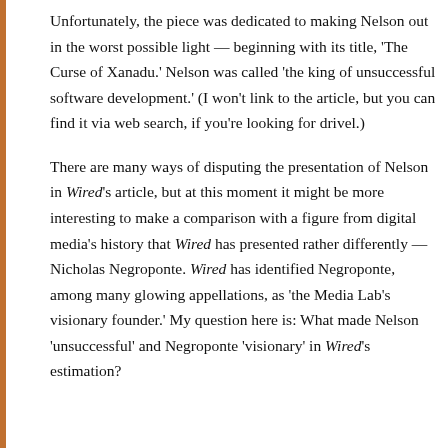Unfortunately, the piece was dedicated to making Nelson out in the worst possible light — beginning with its title, 'The Curse of Xanadu.' Nelson was called 'the king of unsuccessful software development.' (I won't link to the article, but you can find it via web search, if you're looking for drivel.)
There are many ways of disputing the presentation of Nelson in Wired's article, but at this moment it might be more interesting to make a comparison with a figure from digital media's history that Wired has presented rather differently — Nicholas Negroponte. Wired has identified Negroponte, among many glowing appellations, as 'the Media Lab's visionary founder.' My question here is: What made Nelson 'unsuccessful' and Negroponte 'visionary' in Wired's estimation?